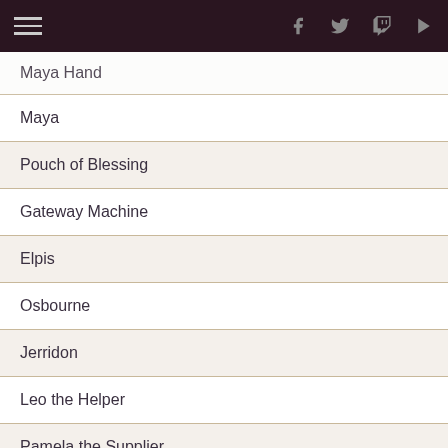Maya Hand | Maya | Pouch of Blessing | Gateway Machine | Elpis | Osbourne | Jerridon | Leo the Helper | Pamela the Supplier | Angela the Supplier | Illusion Sorcerer Spirit A
Maya Hand
Maya
Pouch of Blessing
Gateway Machine
Elpis
Osbourne
Jerridon
Leo the Helper
Pamela the Supplier
Angela the Supplier
Illusion Sorcerer Spirit A